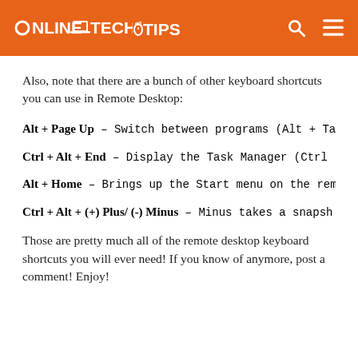ONLINE TECH TIPS
Also, note that there are a bunch of other keyboard shortcuts you can use in Remote Desktop:
Alt + Page Up – Switch between programs (Alt + Ta
Ctrl + Alt + End – Display the Task Manager (Ctrl -
Alt + Home – Brings up the Start menu on the rem
Ctrl + Alt + (+) Plus/ (-) Minus – Minus takes a snapsh
Those are pretty much all of the remote desktop keyboard shortcuts you will ever need! If you know of anymore, post a comment! Enjoy!